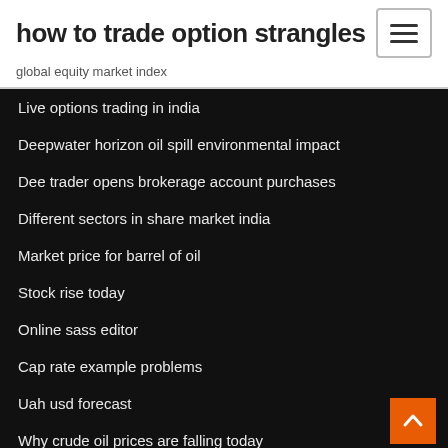how to trade option strangles
global equity market index
Live options trading in india
Deepwater horizon oil spill environmental impact
Dee trader opens brokerage account purchases
Different sectors in share market india
Market price for barrel of oil
Stock rise today
Online sass editor
Cap rate example problems
Uah usd forecast
Why crude oil prices are falling today